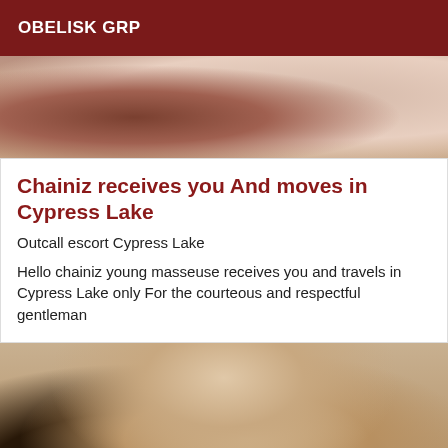OBELISK GRP
[Figure (photo): Top portion of a photo showing a person, cropped, with warm tones]
Chainiz receives you And moves in Cypress Lake
Outcall escort Cypress Lake
Hello chainiz young masseuse receives you and travels in Cypress Lake only For the courteous and respectful gentleman
[Figure (photo): Photo of a person in black lingerie, posing, cropped view]